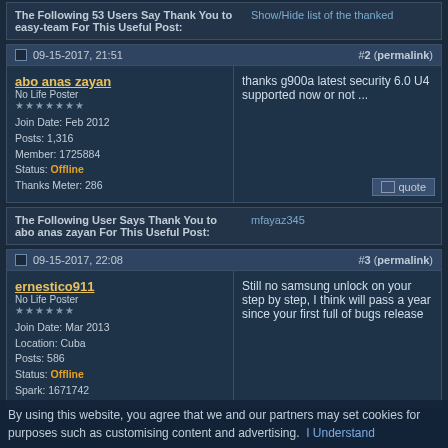The Following 53 Users Say Thank You to easy-team For This Useful Post:
Show/Hide list of the thanked
09-15-2017, 21:51  #2 (permalink)
abo anas zayan
No Life Poster
★★★★★★★
Join Date: Feb 2012
Posts: 1,316
Member: 1725884
Status: Offline
Thanks Meter: 286
thanks g900a latest security 6.0 U4 supported now or not ...
The Following User Says Thank You to abo anas zayan For This Useful Post:
mfayaz345
09-15-2017, 22:08  #3 (permalink)
ernestico911
No Life Poster
★★★★★★
Join Date: Mar 2013
Location: Cuba
Posts: 586
Status: Offline
Spark: 1671742
Still no samsung unlock on your step by step, I think will pass a year since your first full of bugs release
By using this website, you agree that we and our partners may set cookies for purposes such as customising content and advertising. I Understand